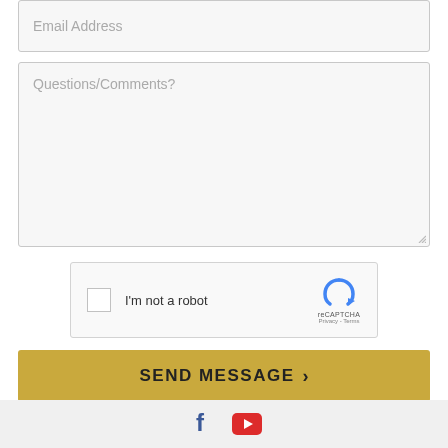Email Address
Questions/Comments?
[Figure (other): reCAPTCHA widget with checkbox labeled 'I'm not a robot' and reCAPTCHA logo with Privacy and Terms links]
SEND MESSAGE >
Licensed Real Estate Broker  7871741
[Figure (other): Footer with Facebook and YouTube social media icons]